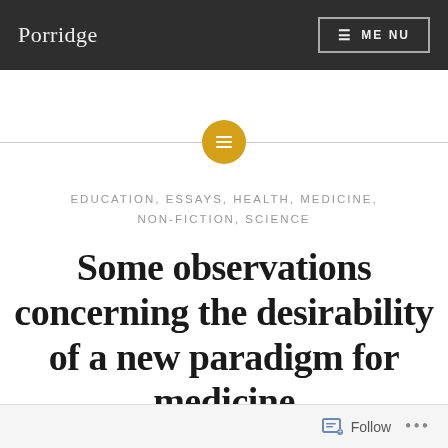Porridge | MENU
[Figure (illustration): Decorative horizontal divider with a golden/amber circle in the center containing a small menu/text icon]
EDUCATION, ESSAYS, HEALTH, MEDICINE, NON-FICTION, SCIENCE
Some observations concerning the desirability of a new paradigm for medicine
Follow ...